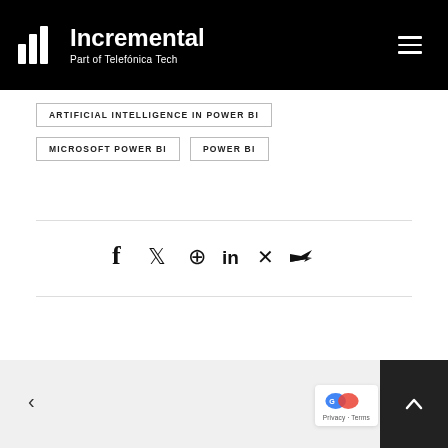Incremental – Part of Telefónica Tech
ARTIFICIAL INTELLIGENCE IN POWER BI
MICROSOFT POWER BI
POWER BI
[Figure (infographic): Social sharing icons: Facebook, Twitter, Pinterest, LinkedIn, Xing, Email/Telegram]
Privacy · Terms